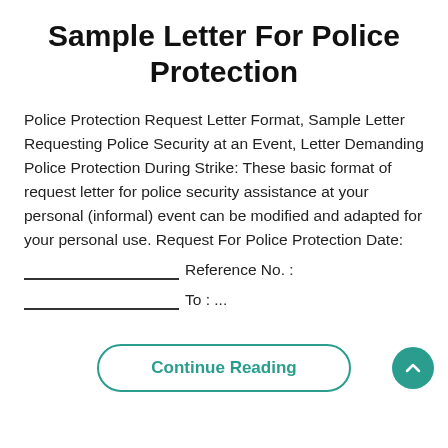Sample Letter For Police Protection
Police Protection Request Letter Format, Sample Letter Requesting Police Security at an Event, Letter Demanding Police Protection During Strike: These basic format of request letter for police security assistance at your personal (informal) event can be modified and adapted for your personal use. Request For Police Protection Date:
___________________ Reference No. :
___________________ To : ...